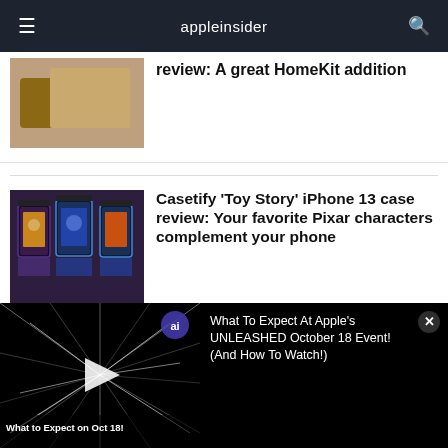appleinsider
review: A great HomeKit addition
[Figure (photo): Partial photo of a HomeKit product on a couch/sofa background]
[Figure (photo): Three Casetify Toy Story iPhone 13 cases displayed in packaging]
Casetify 'Toy Story' iPhone 13 case review: Your favorite Pixar characters complement your phone
[Figure (photo): Das Keyboard MacTigr keyboard on a desk]
Das Keyboard MacTigr Review: Mac minimalism in
[Figure (screenshot): Video thumbnail showing starfield/warp effect with text 'What to Expect on Oct 18!']
What To Expect At Apple's UNLEASHED October 18 Event! (And How To Watch!)